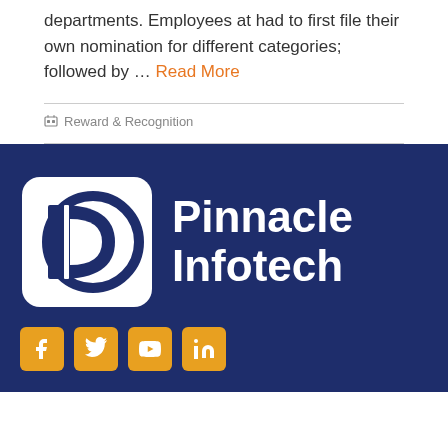departments. Employees at had to first file their own nomination for different categories; followed by … Read More
Reward & Recognition
[Figure (logo): Pinnacle Infotech logo on dark navy blue background with white rounded square icon and white text reading Pinnacle Infotech, with social media icons (Facebook, Twitter, YouTube, LinkedIn) in orange/yellow below]